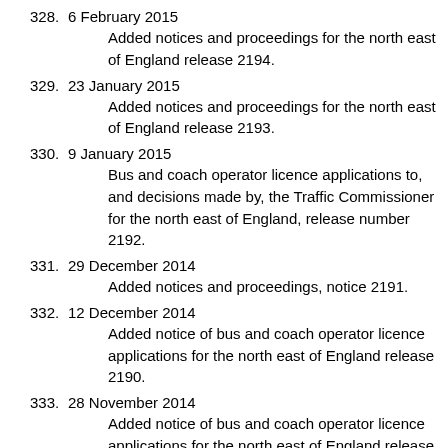328. 6 February 2015
Added notices and proceedings for the north east of England release 2194.
329. 23 January 2015
Added notices and proceedings for the north east of England release 2193.
330. 9 January 2015
Bus and coach operator licence applications to, and decisions made by, the Traffic Commissioner for the north east of England, release number 2192.
331. 29 December 2014
Added notices and proceedings, notice 2191.
332. 12 December 2014
Added notice of bus and coach operator licence applications for the north east of England release 2190.
333. 28 November 2014
Added notice of bus and coach operator licence applications for the north east of England release 2189.